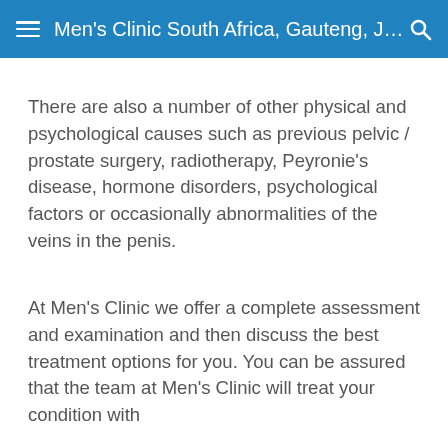Men's Clinic South Africa, Gauteng, Joh...
There are also a number of other physical and psychological causes such as previous pelvic / prostate surgery, radiotherapy, Peyronie’s disease, hormone disorders, psychological factors or occasionally abnormalities of the veins in the penis.
At Men’s Clinic we offer a complete assessment and examination and then discuss the best treatment options for you. You can be assured that the team at Men’s Clinic will treat your condition with confidentiality and professionalism...